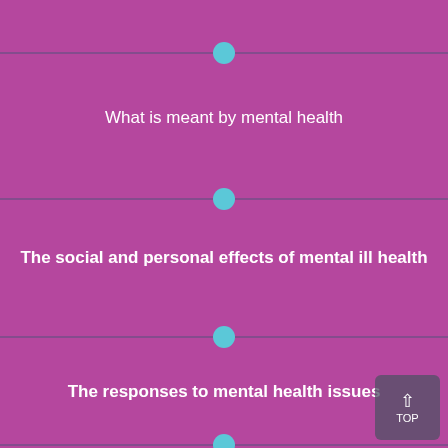What is meant by mental health
The social and personal effects of mental ill health
The responses to mental health issues